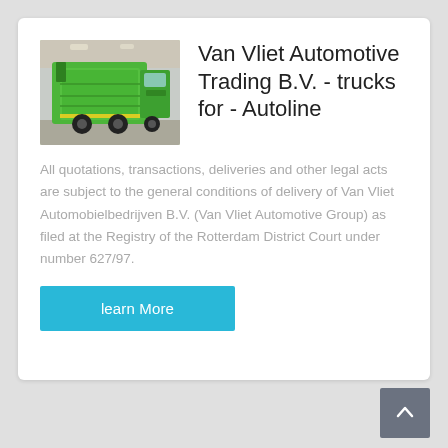[Figure (photo): Green garbage truck photographed from behind at an exhibition or indoor venue]
Van Vliet Automotive Trading B.V. - trucks for - Autoline
All quotations, transactions, deliveries and other legal acts are subject to the general conditions of delivery of Van Vliet Automobielbedrijven B.V. (Van Vliet Automotive Group) as filed at the Registry of the Rotterdam District Court under number 627/97.
learn More